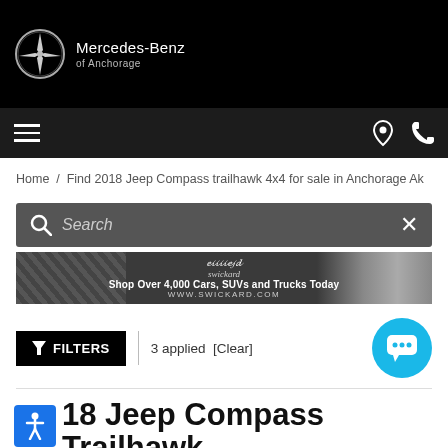Mercedes-Benz of Anchorage
Home / Find 2018 Jeep Compass trailhawk 4x4 for sale in Anchorage Ak
[Figure (screenshot): Search bar with magnifying glass icon and X close button on dark gray background]
[Figure (infographic): Swickard auto dealer advertisement banner: Shop Over 4,000 Cars, SUVs and Trucks Today, WWW.SWICKARD.COM]
FILTERS | 3 applied [Clear]
2018 Jeep Compass Trailhawk